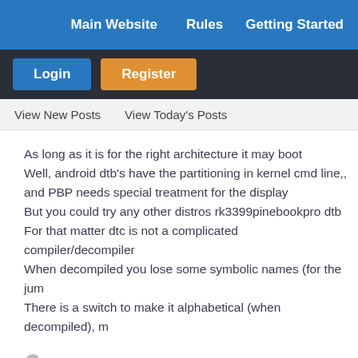Main Website   Rules   Getting Started
Login   Register
View New Posts   View Today's Posts
As long as it is for the right architecture it may boot
Well, android dtb's have the partitioning in kernel cmd line,
and PBP needs special treatment for the display
But you could try any other distros rk3399pinebookpro dtb
For that matter dtc is not a complicated compiler/decompiler
When decompiled you lose some symbolic names (for the jum
There is a switch to make it alphabetical (when decompiled), m
dsimic
Pine Scholar
★★★★★